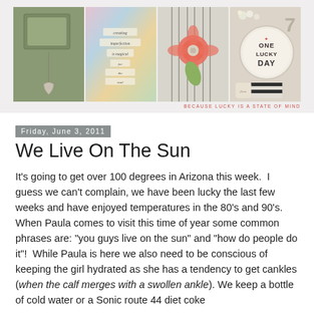[Figure (photo): One Lucky Day blog header banner with four photo collage panels showing crafts/jewelry, colorful art journal page with text stamps, striped fabric with coral flower, and shelf display with One Lucky Day circular logo. Tagline reads: BECAUSE LUCKY IS A STATE OF MIND]
Friday, June 3, 2011
We Live On The Sun
It's going to get over 100 degrees in Arizona this week.  I guess we can't complain, we have been lucky the last few weeks and have enjoyed temperatures in the 80's and 90's.  When Paula comes to visit this time of year some common phrases are: "you guys live on the sun" and "how do people do it"!  While Paula is here we also need to be conscious of keeping the girl hydrated as she has a tendency to get cankles (when the calf merges with a swollen ankle). We keep a bottle of cold water or a Sonic route 44 diet coke